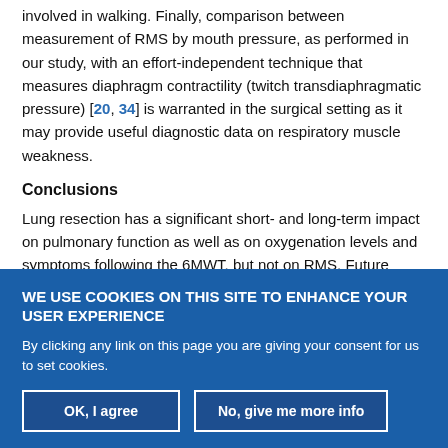involved in walking. Finally, comparison between measurement of RMS by mouth pressure, as performed in our study, with an effort-independent technique that measures diaphragm contractility (twitch transdiaphragmatic pressure) [20, 34] is warranted in the surgical setting as it may provide useful diagnostic data on respiratory muscle weakness.
Conclusions
Lung resection has a significant short- and long-term impact on pulmonary function as well as on oxygenation levels and symptoms following the 6MWT, but not on RMS. Future research should focus on mechanisms other than post-operative impairments in RMS...
WE USE COOKIES ON THIS SITE TO ENHANCE YOUR USER EXPERIENCE
By clicking any link on this page you are giving your consent for us to set cookies.